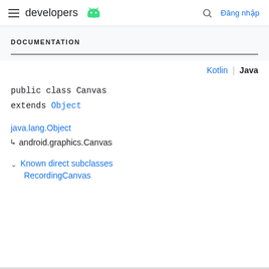developers [android logo] | Đăng nhập
DOCUMENTATION
Kotlin | Java
public class Canvas
extends Object
java.lang.Object
↳ android.graphics.Canvas
↓ Known direct subclasses
RecordingCanvas